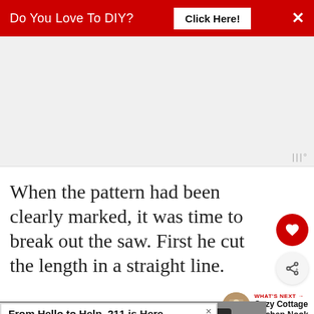Do You Love To DIY?  Click Here!
[Figure (other): Gray advertisement placeholder box with logo watermark 'III°' in bottom right corner]
When the pattern had been clearly marked, it was time to break out the saw. First he cut the length in a straight line.
[Figure (photo): Partial photo of a car showing wheels and undercarriage on pavement]
[Figure (other): Advertisement banner: 'From Hello to Help, 211 is Here' with subtext 'Food · Housing · Utilities Assistance · Mental Health']